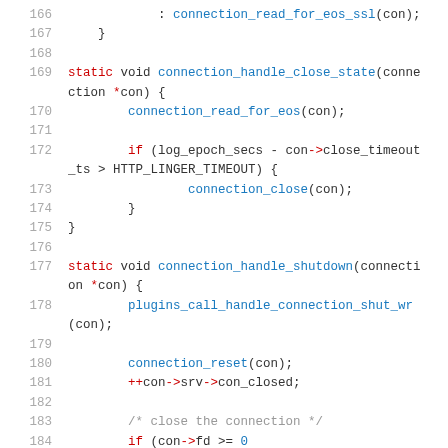[Figure (screenshot): Source code screenshot showing C code lines 166-184 with syntax highlighting. Keywords in red, function names in blue, comments in gray, other code in dark gray.]